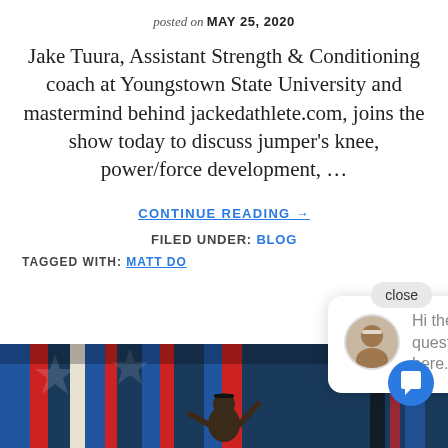posted on MAY 25, 2020
Jake Tuura, Assistant Strength & Conditioning coach at Youngstown State University and mastermind behind jackedathlete.com, joins the show today to discuss jumper's knee, power/force development, …
CONTINUE READING →
FILED UNDER: BLOG
TAGGED WITH: MATT DO...
[Figure (screenshot): Chat popup with avatar, close button, and message: Hi there, have a question? Text us here.]
[Figure (photo): Bottom photo showing colorful graffiti wall with a person, and blue chat button in corner]